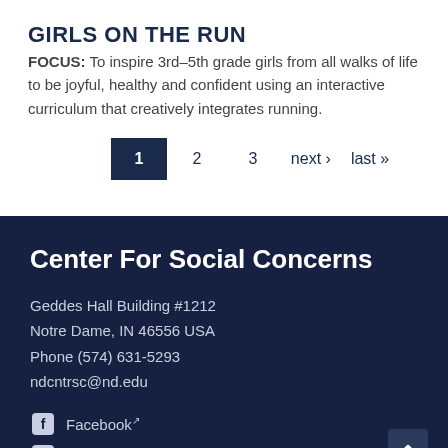GIRLS ON THE RUN
FOCUS: To inspire 3rd–5th grade girls from all walks of life to be joyful, healthy and confident using an interactive curriculum that creatively integrates running.
Pagination: 1 (active) 2 3 next › last »
Center For Social Concerns
Geddes Hall Building #1212
Notre Dame, IN 46556 USA
Phone (574) 631-5293
ndcntrsc@nd.edu
Facebook
Twitter